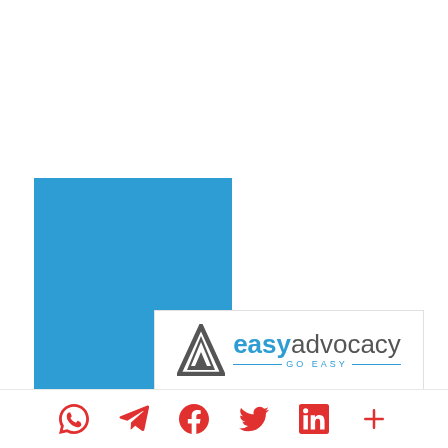[Figure (logo): EasyAdvocacy logo with triangle/arrow icon and tagline 'GO EASY' on white background, overlaid on blue geometric shapes]
Social share icons: WhatsApp, Telegram, Facebook, Twitter, LinkedIn, More